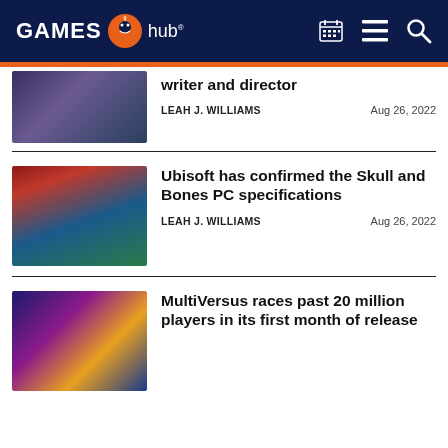GAMES hub
[Figure (screenshot): Partial article thumbnail - dark fantasy game scene]
writer and director
LEAH J. WILLIAMS    Aug 26, 2022
[Figure (screenshot): Ubisoft Skull and Bones pirate ship with skull and crossbones sail]
Ubisoft has confirmed the Skull and Bones PC specifications
LEAH J. WILLIAMS    Aug 26, 2022
[Figure (screenshot): MultiVersus game art showing cartoon characters]
MultiVersus races past 20 million players in its first month of release